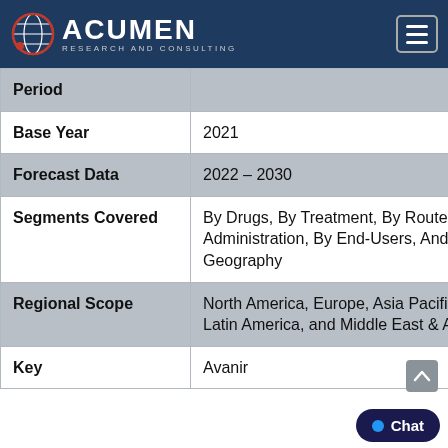Acumen Research and Consulting
| Field | Value |
| --- | --- |
| Period |  |
| Base Year | 2021 |
| Forecast Data | 2022 – 2030 |
| Segments Covered | By Drugs, By Treatment, By Route of Administration, By End-Users, And By Geography |
| Regional Scope | North America, Europe, Asia Pacific, Latin America, and Middle East & Africa |
| Key | Avanir |